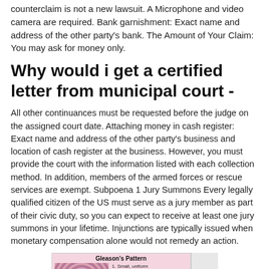counterclaim is not a new lawsuit. A Microphone and video camera are required. Bank garnishment: Exact name and address of the other party's bank. The Amount of Your Claim: You may ask for money only.
Why would i get a certified letter from municipal court -
All other continuances must be requested before the judge on the assigned court date. Attaching money in cash register: Exact name and address of the other party's business and location of cash register at the business. However, you must provide the court with the information listed with each collection method. In addition, members of the armed forces or rescue services are exempt. Subpoena 1 Jury Summons Every legally qualified citizen of the US must serve as a jury member as part of their civic duty, so you can expect to receive at least one jury summons in your lifetime. Injunctions are typically issued when monetary compensation alone would not remedy an action.
[Figure (other): Gleason's Pattern diagram showing tissue patterns with labels: 1. Small, uniform plants; 2. More diverse]